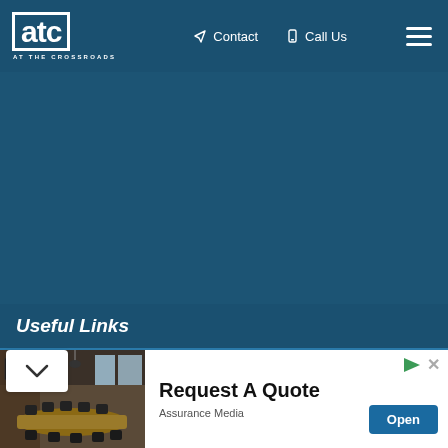ATC AT THE CROSSROADS | Contact | Call Us
Useful Links
[Figure (screenshot): Website screenshot showing ATC At The Crossroads navigation bar with Contact and Call Us links, a large dark teal hero area, and a Useful Links section with dropdown chevron]
[Figure (photo): Conference room with long wooden table, black chairs, TV screen on wall, and large windows with natural light]
Request A Quote
Assurance Media